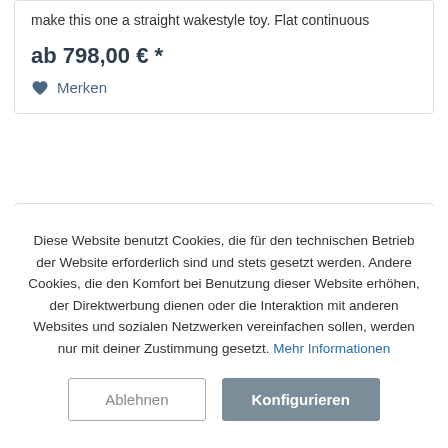make this one a straight wakestyle toy. Flat continuous
ab 798,00 € *
Merken
Diese Website benutzt Cookies, die für den technischen Betrieb der Website erforderlich sind und stets gesetzt werden. Andere Cookies, die den Komfort bei Benutzung dieser Website erhöhen, der Direktwerbung dienen oder die Interaktion mit anderen Websites und sozialen Netzwerken vereinfachen sollen, werden nur mit deiner Zustimmung gesetzt. Mehr Informationen
Ablehnen
Konfigurieren